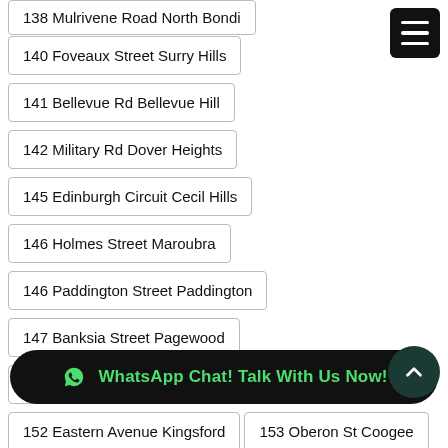138 Mulrivene Road North Bondi
140 Foveaux Street Surry Hills
141 Bellevue Rd Bellevue Hill
142 Military Rd Dover Heights
145 Edinburgh Circuit Cecil Hills
146 Holmes Street Maroubra
146 Paddington Street Paddington
147 Banksia Street Pagewood
148 Hopetoun Avenue Vaucluse
152 Eastern Avenue Kingsford
153 Oberon St Coogee
154/6-14 Oxford St Darlinghurst
15…
156 Denison St Newtown
WhatsApp Chat! Talk With Us Now!